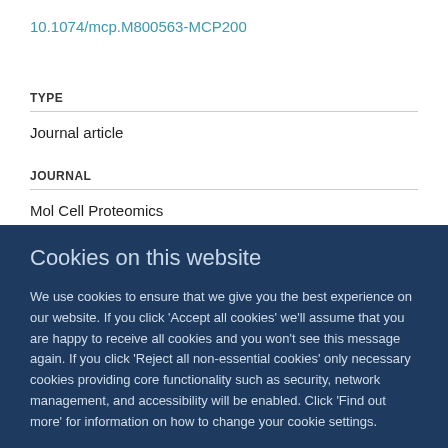10.1074/mcp.M800563-MCP200
TYPE
Journal article
JOURNAL
Mol Cell Proteomics
Cookies on this website
We use cookies to ensure that we give you the best experience on our website. If you click 'Accept all cookies' we'll assume that you are happy to receive all cookies and you won't see this message again. If you click 'Reject all non-essential cookies' only necessary cookies providing core functionality such as security, network management, and accessibility will be enabled. Click 'Find out more' for information on how to change your cookie settings.